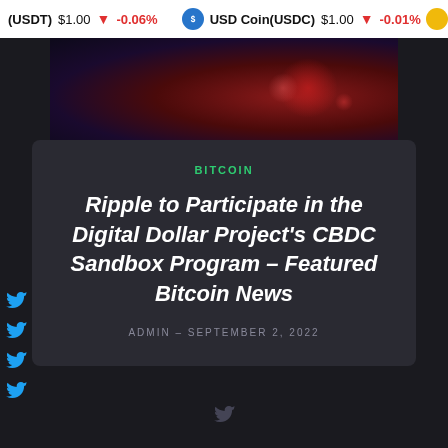(USDT) $1.00 ↓ -0.06%   USD Coin(USDC) $1.00 ↓ -0.01%
[Figure (photo): Dark red and purple glowing abstract background image for article hero]
BITCOIN
Ripple to Participate in the Digital Dollar Project's CBDC Sandbox Program – Featured Bitcoin News
ADMIN – SEPTEMBER 2, 2022